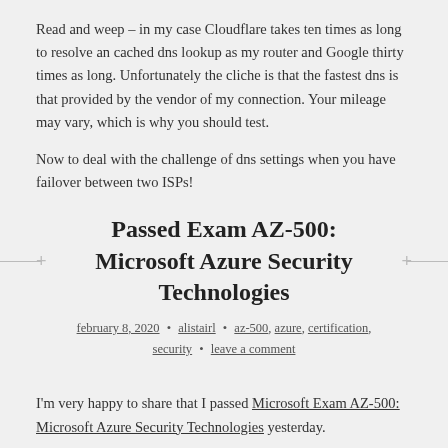Read and weep – in my case Cloudflare takes ten times as long to resolve an cached dns lookup as my router and Google thirty times as long. Unfortunately the cliche is that the fastest dns is that provided by the vendor of my connection. Your mileage may vary, which is why you should test.
Now to deal with the challenge of dns settings when you have failover between two ISPs!
Passed Exam AZ-500: Microsoft Azure Security Technologies
february 8, 2020 • alistairl • az-500, azure, certification, security • leave a comment
I'm very happy to share that I passed Microsoft Exam AZ-500: Microsoft Azure Security Technologies yesterday.